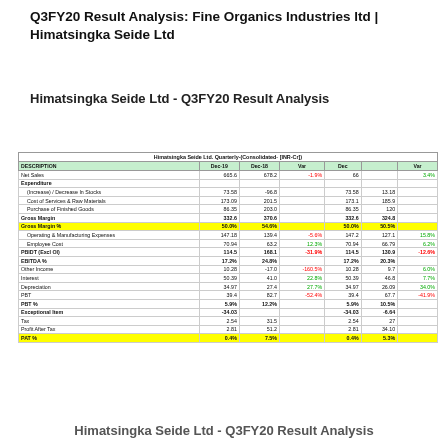Q3FY20 Result Analysis: Fine Organics Industries ltd | Himatsingka Seide Ltd
Himatsingka Seide Ltd - Q3FY20 Result Analysis
| DESCRIPTION | Dec-19 | Dec-18 | Var | Dec |  | Var |
| --- | --- | --- | --- | --- | --- | --- |
| Net Sales | 665.6 | 678.2 | -1.9% | 66 |  | 3.4% |
| Expenditure |  |  |  |  |  |  |
| (Increase) / Decrease In Stocks | 73.58 | -96.8 |  | 73.58 | 13.18 |  |
| Cost of Services & Raw Materials | 173.09 | 201.5 |  | 173.1 | 185.9 |  |
| Purchase of Finished Goods | 86.35 | 203.0 |  | 86.35 | 120 |  |
| Gross Margin | 332.6 | 370.6 |  | 332.6 | 324.8 |  |
| Gross Margin % | 50.0% | 54.6% |  | 50.0% | 50.5% |  |
| Operating & Manufacturing Expenses | 147.18 | 139.4 | -5.6% | 147.2 | 127.1 | 15.8% |
| Employee Cost | 70.94 | 63.2 | 12.3% | 70.94 | 66.79 | 6.2% |
| PBIDT (Excl OI) | 114.5 | 168.1 | -31.9% | 114.5 | 130.9 | -12.6% |
| EBITDA % | 17.2% | 24.8% |  | 17.2% | 20.3% |  |
| Other Income | 10.28 | -17.0 | -160.5% | 10.28 | 9.7 | 6.0% |
| Interest | 50.39 | 41.0 | 22.8% | 50.39 | 46.8 | 7.7% |
| Depreciation | 34.97 | 27.4 | 27.7% | 34.97 | 26.09 | 34.0% |
| PBT | 39.4 | 82.7 | -52.4% | 39.4 | 67.7 | -41.9% |
| PBT % | 5.9% | 12.2% |  | 5.9% | 10.5% |  |
| Exceptional Item | -34.03 |  |  | -34.03 | -6.64 |  |
| Tax | 2.54 | 31.5 |  | 2.54 | 27 |  |
| Profit After Tax | 2.81 | 51.2 |  | 2.81 | 34.10 |  |
| PAT % | 0.4% | 7.5% |  | 0.4% | 5.3% |  |
Himatsingka Seide Ltd - Q3FY20 Result Analysis